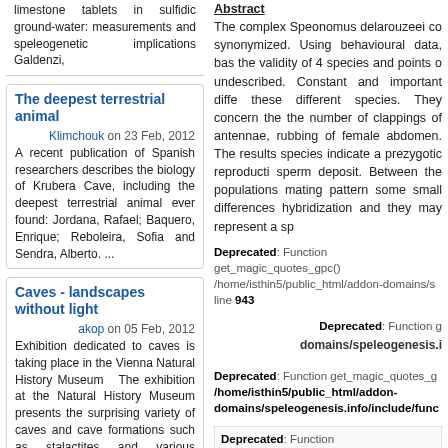limestone tablets in sulfidic groundwater: measurements and speleogenetic implications Galdenzi,
The deepest terrestrial animal
Klimchouk on 23 Feb, 2012
A recent publication of Spanish researchers describes the biology of Krubera Cave, including the deepest terrestrial animal ever found: Jordana, Rafael; Baquero, Enrique; Reboleira, Sofia and Sendra, Alberto. ...
Caves - landscapes without light
akop on 05 Feb, 2012
Exhibition dedicated to caves is taking place in the Vienna Natural History Museum The exhibition at the Natural History Museum presents the surprising variety of caves and cave formations such as stalactites and various crystals. ...
Did you know?
That rise is (jamaican.) spring rising from fractures in limestone. point at which an underground stream comes to the surface [10].?
Checkout all 2699 terms in the KarstBase Glossary of Karst and
Abstract
The complex Speonomus delarouzeei co synonymized. Using behavioural data, bas the validity of 4 species and points o undescribed. Constant and important diffe these different species. They concern the the number of clappings of antennae, rubbing of female abdomen. The results species indicate a prezygotic reproducti sperm deposit. Between the populations mating pattern some small differences hybridization and they may represent a sp
Deprecated: Function get_magic_quotes_gpc() /home/isthin5/public_html/addon-domains/s line 943
Deprecated: Function g
domains/speleogenesis.i
Deprecated: Function get_magic_quotes_g /home/isthin5/public_html/addon-domains/speleogenesis.info/include/func
Deprecated: Function get_magic_quotes_ /home/isthin5/public_html/addon-domains/speleogenesis.info/include/fur